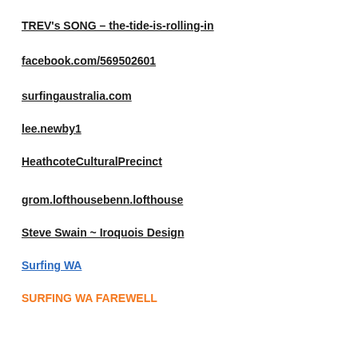TREV's SONG – the-tide-is-rolling-in
facebook.com/569502601
surfingaustralia.com
lee.newby1
HeathcoteCulturalPrecinct
grom.lofthousebenn.lofthouse
Steve Swain ~ Iroquois Design
Surfing WA
SURFING WA FAREWELL